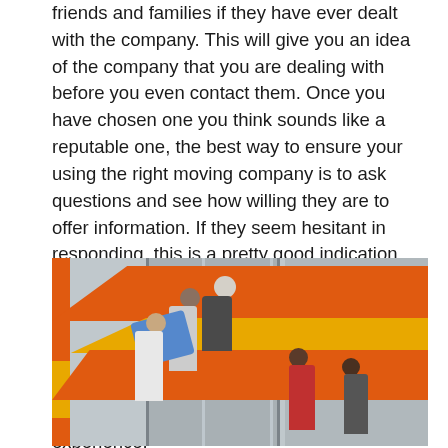friends and families if they have ever dealt with the company. This will give you an idea of the company that you are dealing with before you even contact them. Once you have chosen one you think sounds like a reputable one, the best way to ensure your using the right moving company is to ask questions and see how willing they are to offer information. If they seem hesitant in responding, this is a pretty good indication that something might not be up to par. Make certain they want you to sign a contract and verify you goods before and after the move. Make sure to read the fine print in any contract you sign, insure yourself and be assured you move will be a pleasant experience.
[Figure (photo): Photo of movers unloading a moving truck. Several people are visible near the back of an orange and yellow branded moving truck. One person is carrying a blue wrapped item. People of various ages are standing near the truck entrance.]